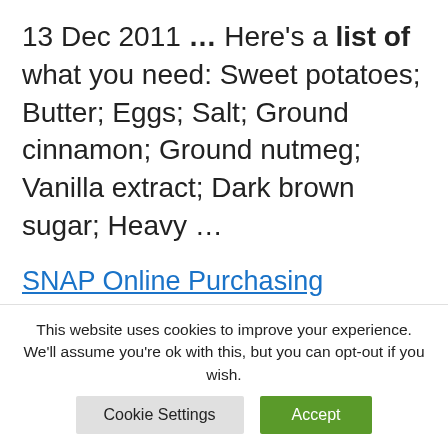13 Dec 2011 … Here's a list of what you need: Sweet potatoes; Butter; Eggs; Salt; Ground cinnamon; Ground nutmeg; Vanilla extract; Dark brown sugar; Heavy …
SNAP Online Purchasing Program | Mass.gov
Information on the Massachusetts Supplemental Nutrition Assistance Program … use their EBT card to buy
This website uses cookies to improve your experience. We'll assume you're ok with this, but you can opt-out if you wish.